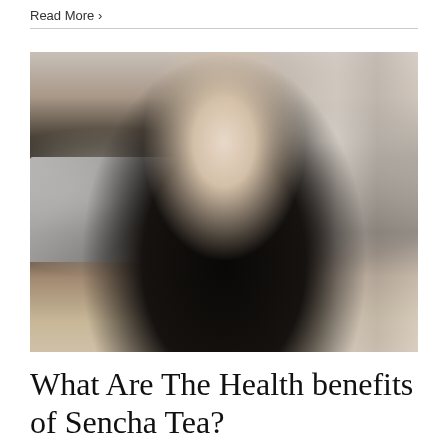Read More >
[Figure (photo): A young blonde woman in a black polka-dot dress sitting at a cafe table, dipping a tea bag into a glass cup of tea. A laptop is open on the table beside her.]
What Are The Health benefits of Sencha Tea?